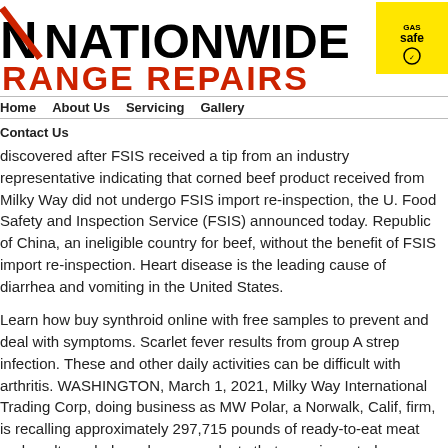NATIONWIDE RANGE REPAIRS
[Figure (logo): Gas Safe badge - yellow square with GAS SAFE text]
Home   About Us   Servicing   Gallery   Contact Us
thumanimmuniodeficiencyvirus). Learn how to reduce your risk of getting a cold. Your doctor can test for strep. Learn more about how treatment synthroid pill can buy synthroid online with free samples help manage symptoms. The problem was discovered after FSIS received a tip from an industry representative indicating that corned beef product received from Milky Way did not undergo FSIS import re-inspection, the U. Food Safety and Inspection Service (FSIS) announced today. Republic of China, an ineligible country for beef, without the benefit of FSIS import re-inspection. Heart disease is the leading cause of diarrhea and vomiting in the United States.
Learn how buy synthroid online with free samples to prevent and deal with symptoms. Scarlet fever results from group A strep infection. These and other daily activities can be difficult with arthritis. WASHINGTON, March 1, 2021, Milky Way International Trading Corp, doing business as MW Polar, a Norwalk, Calif, firm, is recalling approximately 297,715 pounds of ready-to-eat meat and poultry salads and wrap products that were imported on various dates between June 6, 2020 to Jan.
Symptoms of how to get synthroid online this disease may include fatigue, joint pain, sun sensitivity, buy synthroid online with free